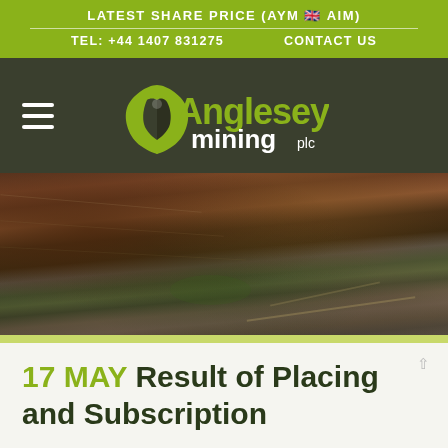LATEST SHARE PRICE (AYM 🇬🇧 AIM)
TEL: +44 1407 831275    CONTACT US
[Figure (logo): Anglesey Mining plc logo in yellow-green on dark background, with hamburger menu icon on the left]
[Figure (photo): Aerial/wide view of an open-pit mine with terraced rock walls in shades of brown, red, and green]
17 MAY Result of Placing and Subscription